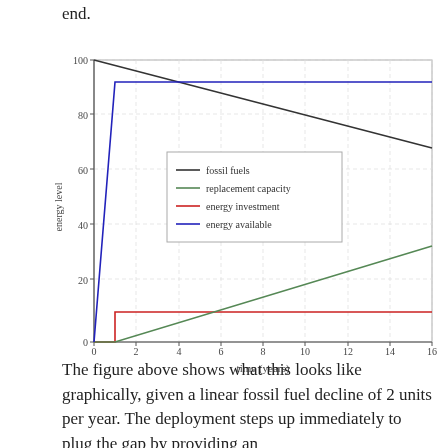end.
[Figure (line-chart): ]
The figure above shows what this looks like graphically, given a linear fossil fuel decline of 2 units per year. The deployment steps up immediately to plug the gap by providing an